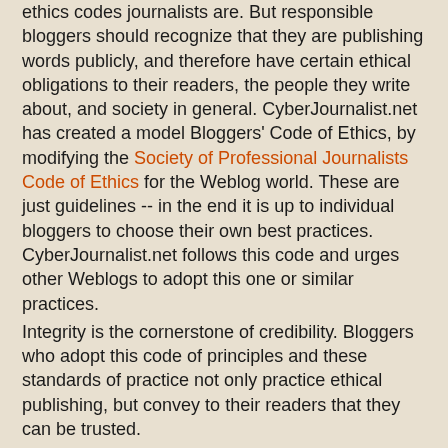ethics codes journalists are. But responsible bloggers should recognize that they are publishing words publicly, and therefore have certain ethical obligations to their readers, the people they write about, and society in general. CyberJournalist.net has created a model Bloggers' Code of Ethics, by modifying the Society of Professional Journalists Code of Ethics for the Weblog world. These are just guidelines -- in the end it is up to individual bloggers to choose their own best practices. CyberJournalist.net follows this code and urges other Weblogs to adopt this one or similar practices.
Integrity is the cornerstone of credibility. Bloggers who adopt this code of principles and these standards of practice not only practice ethical publishing, but convey to their readers that they can be trusted.
A BLOGGERS' CODE OF ETHICS
Be Honest and Fair
Bloggers should be honest and fair in gathering, reporting